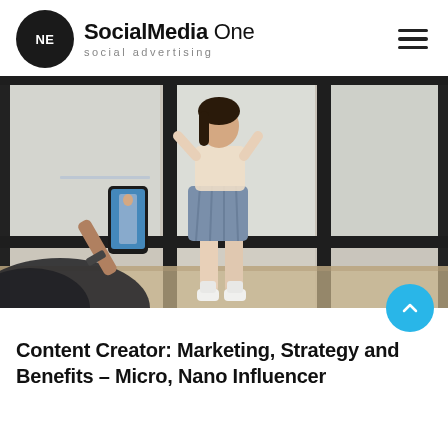SocialMedia One — social advertising
[Figure (photo): A young woman posing in front of large windows while someone photographs her with a smartphone]
Content Creator: Marketing, Strategy and Benefits – Micro, Nano Influencer